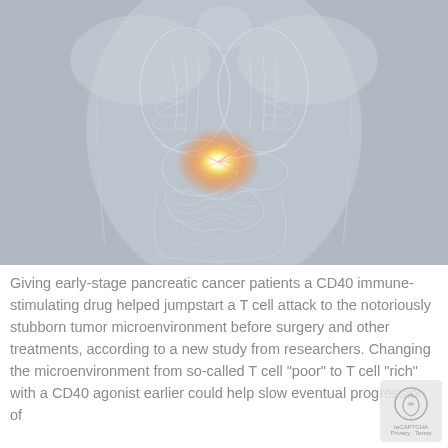[Figure (illustration): Medical illustration of a translucent human torso showing internal organs (lungs, digestive system, intestines) against a gray background, with a glowing orange-yellow highlight on the pancreas area indicating a tumor or cancer site, with pink/red filaments radiating from the glow point.]
Giving early-stage pancreatic cancer patients a CD40 immune-stimulating drug helped jumpstart a T cell attack to the notoriously stubborn tumor microenvironment before surgery and other treatments, according to a new study from researchers. Changing the microenvironment from so-called T cell "poor" to T cell "rich" with a CD40 agonist earlier could help slow eventual progression of